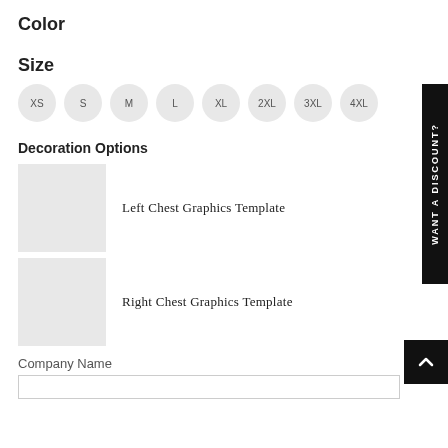Color
Size
XS
S
M
L
XL
2XL
3XL
4XL
Decoration Options
[Figure (other): Gray placeholder thumbnail for Left Chest Graphics Template]
Left Chest Graphics Template
[Figure (other): Gray placeholder thumbnail for Right Chest Graphics Template]
Right Chest Graphics Template
Company Name